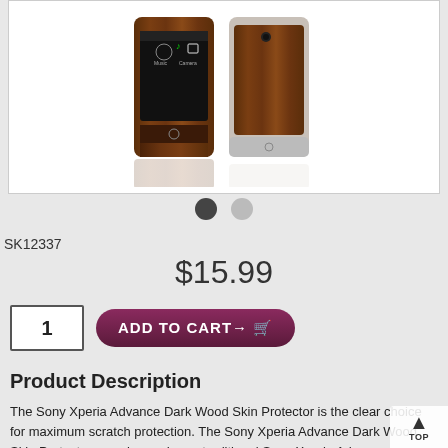[Figure (photo): Sony Xperia Advance phone with dark wood skin protector applied, showing front and back views with reflection]
SK12337
$15.99
1
ADD TO CART
Product Description
The Sony Xperia Advance Dark Wood Skin Protector is the clear choice for maximum scratch protection. The Sony Xperia Advance Dark Wood Skin Protector goes beyond your traditional Sony Xperia Advance screen protectors, skins, covers, and cases. TechSkin is made from the same film material used to protect luxury cars, military aircrafts, and NASA space shuttles. The Sony Xperia Advance Dark Wood Skin Protector is cut to specifically fit the Sony Xperia